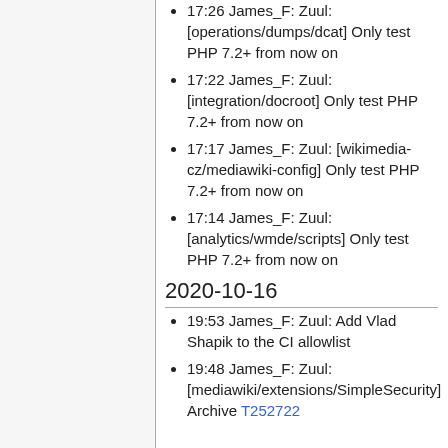17:26 James_F: Zuul: [operations/dumps/dcat] Only test PHP 7.2+ from now on
17:22 James_F: Zuul: [integration/docroot] Only test PHP 7.2+ from now on
17:17 James_F: Zuul: [wikimedia-cz/mediawiki-config] Only test PHP 7.2+ from now on
17:14 James_F: Zuul: [analytics/wmde/scripts] Only test PHP 7.2+ from now on
2020-10-16
19:53 James_F: Zuul: Add Vlad Shapik to the CI allowlist
19:48 James_F: Zuul: [mediawiki/extensions/SimpleSecurity] Archive T252722